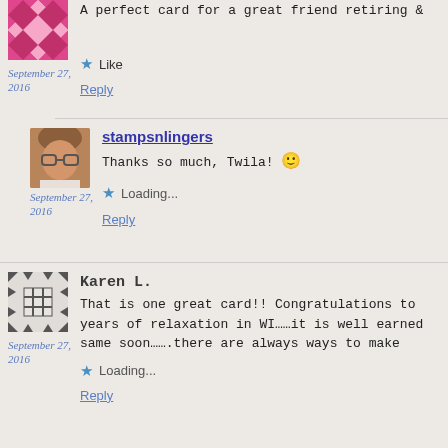A perfect card for a great friend retiring &
Like
Reply
September 27, 2016
stampsnlingers
Thanks so much, Twila! 🙂
Loading...
Reply
September 27, 2016
Karen L.
That is one great card!! Congratulations to years of relaxation in WI……it is well earned same soon…….there are always ways to make
Loading...
Reply
September 27, 2016